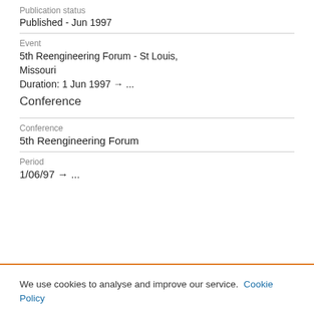Publication status
Published - Jun 1997
Event
5th Reengineering Forum - St Louis, Missouri
Duration: 1 Jun 1997 → ...
Conference
Conference
5th Reengineering Forum
Period
1/06/97 → ...
We use cookies to analyse and improve our service. Cookie Policy